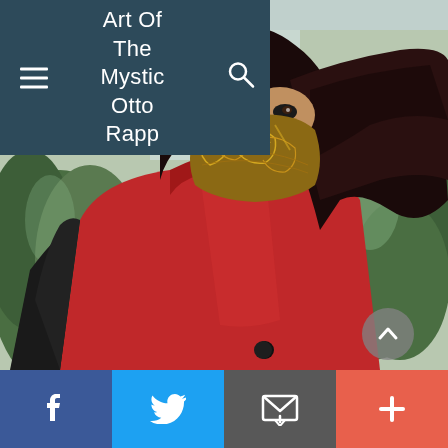[Figure (screenshot): Website screenshot of 'Art Of The Mystic Otto Rapp' blog/site. Header shows dark teal navigation bar with hamburger menu, site title 'Art Of The Mystic Otto Rapp', and search icon. Main area shows a large photo of a person wearing a patterned face mask and red coat with black leather sleeve, with wind-blown dark hair and evergreen trees in the background. A scroll-up button (chevron up) appears over the image. Bottom social bar with Facebook (blue), Twitter (blue), Email (gray), and Plus (orange-red) buttons.]
Art Of The Mystic Otto Rapp
f  Twitter  Email  +